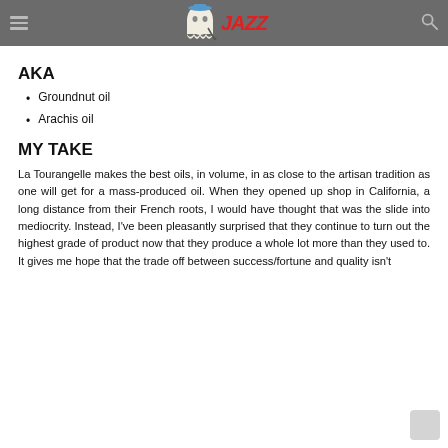Jazz cooking site navigation bar with logo
AKA
Groundnut oil
Arachis oil
MY TAKE
La Tourangelle makes the best oils, in volume, in as close to the artisan tradition as one will get for a mass-produced oil. When they opened up shop in California, a long distance from their French roots, I would have thought that was the slide into mediocrity. Instead, I've been pleasantly surprised that they continue to turn out the highest grade of product now that they produce a whole lot more than they used to. It gives me hope that the trade off between success/fortune and quality isn't always the zero-sum game of the thinkers that say it all...